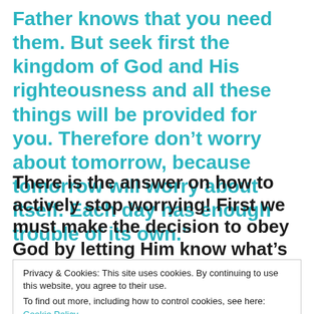Father knows that you need them. But seek first the kingdom of God and His righteousness and all these things will be provided for you. Therefore don't worry about tomorrow, because tomorrow will worry about itself. Each day has enough trouble of its own.”
There is the answer on how to actively stop worrying! First we must make the decision to obey God by letting Him know what’s our my
Privacy & Cookies: This site uses cookies. By continuing to use this website, you agree to their use.
To find out more, including how to control cookies, see here: Cookie Policy
down, He wants to know it all. After all He